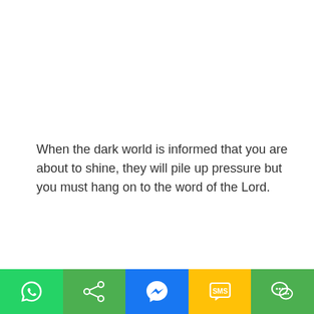When the dark world is informed that you are about to shine, they will pile up pressure but you must hang on to the word of the Lord.
On the other hand, there are people suffering as a result of plot and conspiracy in the unseen world.
Many are suffering in this country as a result of manipulation, occult, and witchcraft.